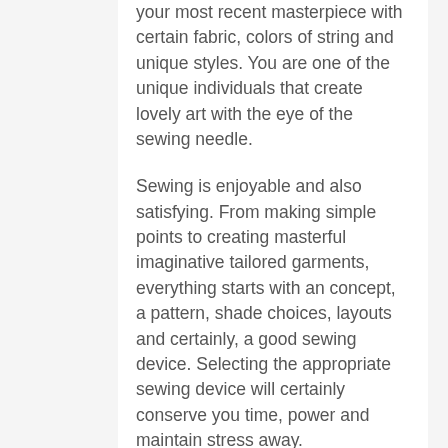your most recent masterpiece with certain fabric, colors of string and unique styles. You are one of the unique individuals that create lovely art with the eye of the sewing needle.
Sewing is enjoyable and also satisfying. From making simple points to creating masterful imaginative tailored garments, everything starts with an concept, a pattern, shade choices, layouts and certainly, a good sewing device. Selecting the appropriate sewing device will certainly conserve you time, power and maintain stress away.
If you are a beginner, simply beginning to meddle the fantastic world of sewing, or a skilled professional, selecting the